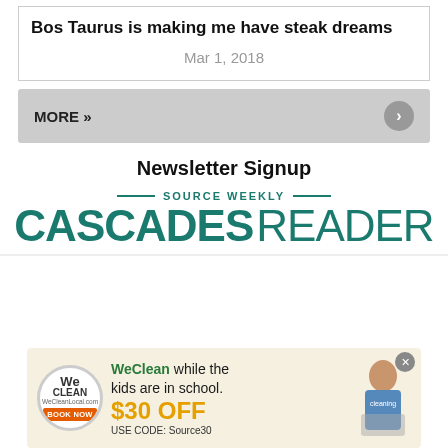Bos Taurus is making me have steak dreams
Mar 1, 2018
MORE »
Newsletter Signup
[Figure (logo): Source Weekly Cascades Reader logo with teal text and decorative dashes]
[Figure (photo): WeClean advertisement banner: 'WeClean while the kids are in school. $30 OFF USE CODE: Source30' with logo and person cleaning]